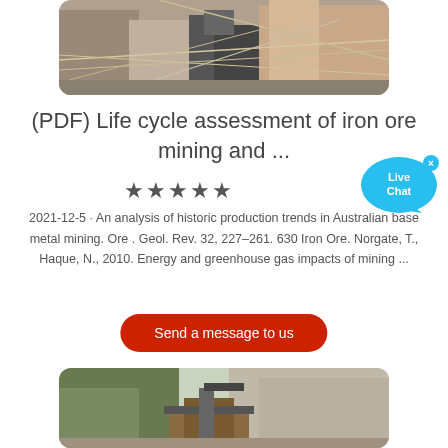[Figure (photo): Mining site with industrial equipment, cables, and machinery against stone walls]
(PDF) Life cycle assessment of iron ore mining and ...
★★★★★
2021-12-5 · An analysis of historic production trends in Australian base metal mining. Ore . Geol. Rev. 32, 227–261. 630 Iron Ore. Norgate, T., Haque, N., 2010. Energy and greenhouse gas impacts of mining ...
[Figure (other): Live Chat bubble icon]
Send a message to us
[Figure (photo): Open pit mining site with rocky cliff face and mining structures]